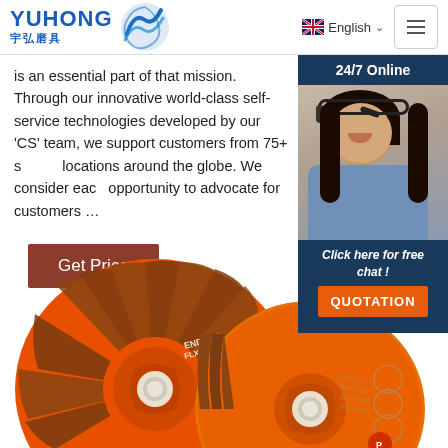YUHONG 宇弘磨具 | English | Menu
is an essential part of that mission. Through our innovative world-class self-service technologies developed by our 'CS' team, we support customers from 75+ s... locations around the globe. We consider eac... opportunity to advocate for customers ...
Get Price
[Figure (photo): Chat widget with '24/7 Online' header, photo of female customer service representative with headset, 'Click here for free chat!' text, and orange QUOTATION button]
[Figure (photo): Two orange flap grinding discs (abrasive discs) labeled 'ENDURO FLX', shown overlapping at an angle on white background]